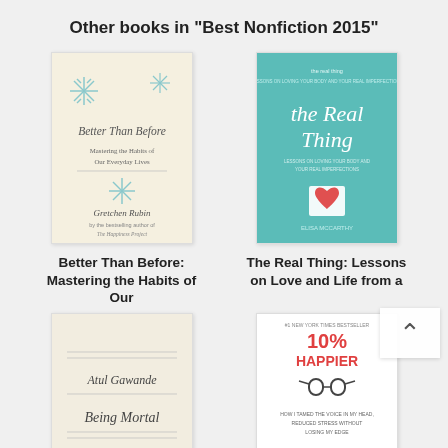Other books in "Best Nonfiction 2015"
[Figure (illustration): Book cover: Better Than Before: Mastering the Habits of Our Everyday Lives by Gretchen Rubin — cream/white cover with snowflake decorations]
[Figure (illustration): Book cover: The Real Thing: Lessons on Love and Life from a — teal/turquoise cover with a heart graphic]
Better Than Before: Mastering the Habits of Our
The Real Thing: Lessons on Love and Life from a
[Figure (illustration): Book cover: Being Mortal: Medicine And — cream cover by Atul Gawande]
[Figure (illustration): Book cover: 10% Happier: How I Tamed the — white cover with glasses graphic by Dan Harris]
Being Mortal: Medicine And
10% Happier: How I Tamed the